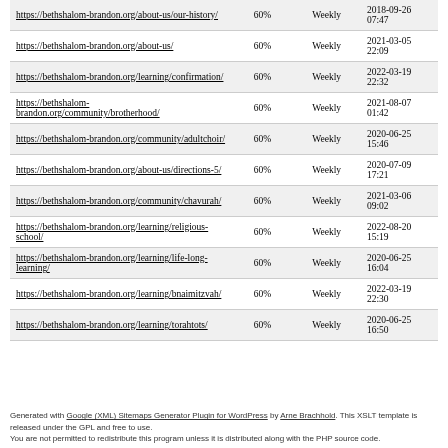| URL | Priority | Change Frequency | Last Modified |
| --- | --- | --- | --- |
| https://bethshalom-brandon.org/about-us/our-history/ | 60% | Weekly | 2018-09-26 07:47 |
| https://bethshalom-brandon.org/about-us/ | 60% | Weekly | 2021-03-05 22:09 |
| https://bethshalom-brandon.org/learning/confirmation/ | 60% | Weekly | 2022-03-19 22:32 |
| https://bethshalom-brandon.org/community/brotherhood/ | 60% | Weekly | 2021-08-07 01:42 |
| https://bethshalom-brandon.org/community/adultchoir/ | 60% | Weekly | 2020-06-25 15:46 |
| https://bethshalom-brandon.org/about-us/directions-5/ | 60% | Weekly | 2020-07-09 17:21 |
| https://bethshalom-brandon.org/community/chavurah/ | 60% | Weekly | 2021-03-06 09:02 |
| https://bethshalom-brandon.org/learning/religious-school/ | 60% | Weekly | 2022-08-20 15:19 |
| https://bethshalom-brandon.org/learning/life-long-learning/ | 60% | Weekly | 2020-06-25 16:04 |
| https://bethshalom-brandon.org/learning/bnaimitzvah/ | 60% | Weekly | 2022-03-19 22:30 |
| https://bethshalom-brandon.org/learning/torahtots/ | 60% | Weekly | 2020-06-25 16:50 |
Generated with Google (XML) Sitemaps Generator Plugin for WordPress by Arne Brachhold. This XSLT template is released under the GPL and free to use. You are not permitted to redistribute this program unless it is distributed along with the PHP source code.